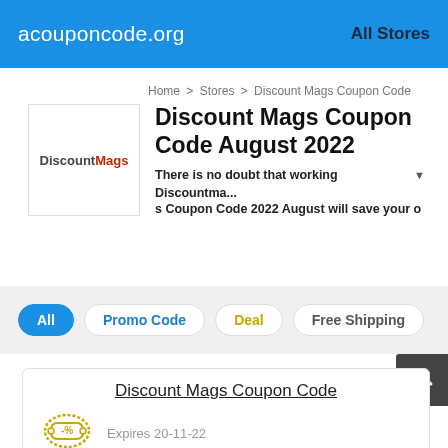acouponcode.org   All Stores
Home > Stores > Discount Mags Coupon Code
[Figure (logo): DiscountMags logo in a white bordered box]
Discount Mags Coupon Code August 2022
There is no doubt that working Discountma... ▼ s Coupon Code 2022 August will save your o
discountmags.com >
All   Promo Code   Deal   Free Shipping
Discount Mags Coupon Code
Expires 20-11-22